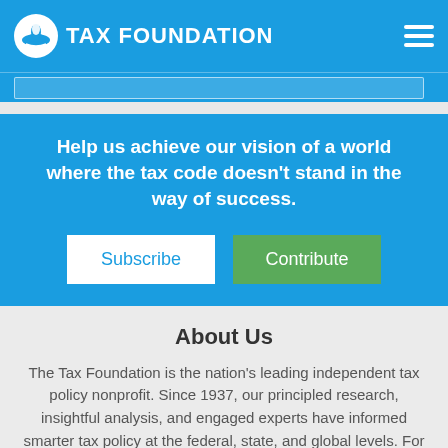TAX FOUNDATION
Help us achieve our vision of a world where the tax code doesn't stand in the way of success.
Subscribe
Contribute
About Us
The Tax Foundation is the nation's leading independent tax policy nonprofit. Since 1937, our principled research, insightful analysis, and engaged experts have informed smarter tax policy at the federal, state, and global levels. For